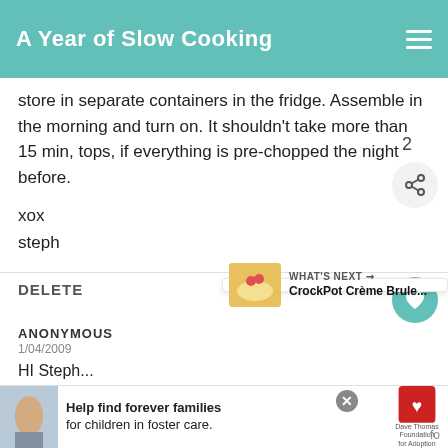A Year of Slow Cooking
store in separate containers in the fridge. Assemble in the morning and turn on. It shouldn't take more than 15 min, tops, if everything is pre-chopped the night before.
xox
steph
DELETE
ANONYMOUS
1/04/2009
HI Steph...